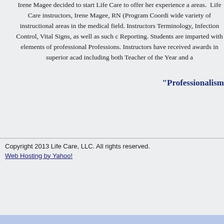Irene Magee decided to start Life Care to offer her experience and expertise in these areas. Life Care instructors, Irene Magee, RN (Program Coordinator), cover a wide variety of instructional areas in the medical field. Instructors cover Medical Terminology, Infection Control, Vital Signs, as well as such courses as Mandatory Reporting. Students are imparted with elements of professionalism in the Health Professions. Instructors have received awards in superior academic achievement, including both Teacher of the Year and a ...
"Professionalism
Copyright 2013 Life Care, LLC. All rights reserved.
Web Hosting by Yahoo!